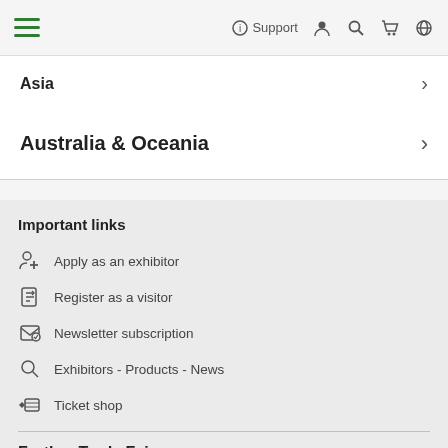Support [navigation icons]
Asia
Australia & Oceania
Important links
Apply as an exhibitor
Register as a visitor
Newsletter subscription
Exhibitors - Products - News
Ticket shop
Further Trade Fairs